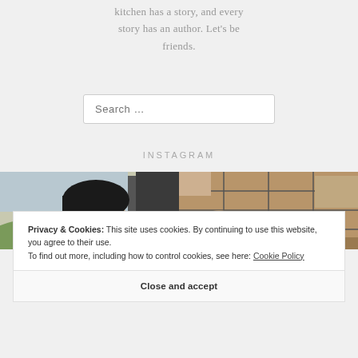kitchen has a story, and every story has an author. Let's be friends.
Search …
INSTAGRAM
[Figure (photo): Two Instagram photo thumbnails: left shows a selfie of a woman in a car with countryside in the background; right shows dogs or animals in a cage/pen area.]
Privacy & Cookies: This site uses cookies. By continuing to use this website, you agree to their use.
To find out more, including how to control cookies, see here: Cookie Policy
Close and accept